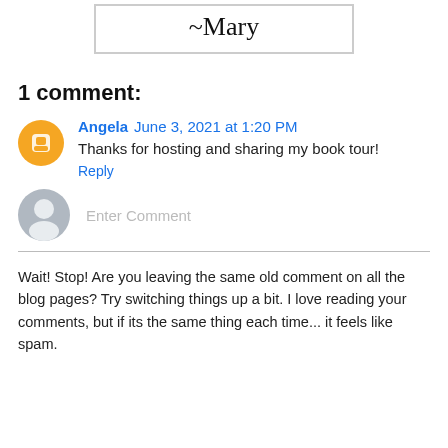[Figure (illustration): Handwritten signature reading '~Mary' inside a bordered box]
1 comment:
Angela June 3, 2021 at 1:20 PM
Thanks for hosting and sharing my book tour!
Reply
Enter Comment
Wait! Stop! Are you leaving the same old comment on all the blog pages? Try switching things up a bit. I love reading your comments, but if its the same thing each time... it feels like spam.